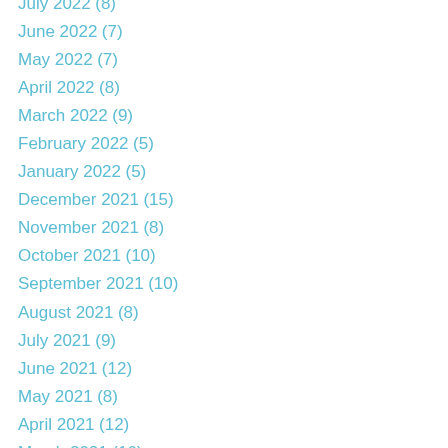July 2022 (8)
June 2022 (7)
May 2022 (7)
April 2022 (8)
March 2022 (9)
February 2022 (5)
January 2022 (5)
December 2021 (15)
November 2021 (8)
October 2021 (10)
September 2021 (10)
August 2021 (8)
July 2021 (9)
June 2021 (12)
May 2021 (8)
April 2021 (12)
March 2021 (16)
February 2021 (15)
January 2021 (18)
December 2020 (14)